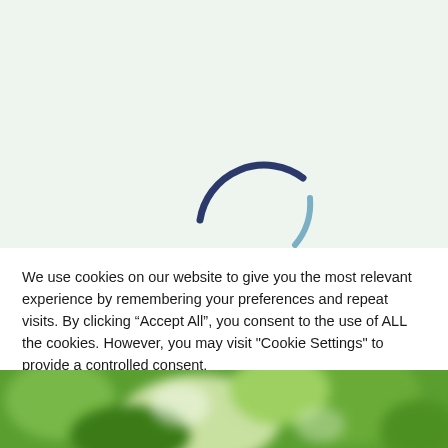[Figure (other): Loading spinner animation on a light green background — a circular arc in dark navy blue (upper portion) and a lighter blue arc (lower right portion), forming a partial ring/spinner icon]
We use cookies on our website to give you the most relevant experience by remembering your preferences and repeat visits. By clicking “Accept All”, you consent to the use of ALL the cookies. However, you may visit "Cookie Settings" to provide a controlled consent.
[Figure (photo): Blurred green foliage/plant photo at the bottom of the page, showing green leaves with bokeh effect]